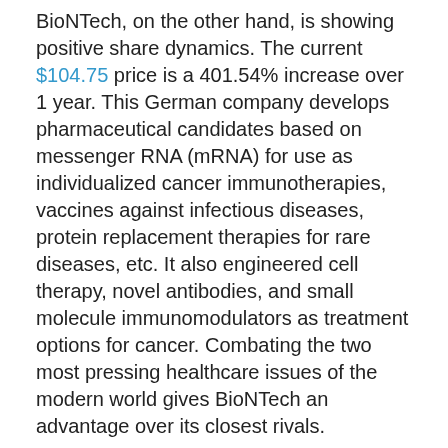BioNTech, on the other hand, is showing positive share dynamics. The current $104.75 price is a 401.54% increase over 1 year. This German company develops pharmaceutical candidates based on messenger RNA (mRNA) for use as individualized cancer immunotherapies, vaccines against infectious diseases, protein replacement therapies for rare diseases, etc. It also engineered cell therapy, novel antibodies, and small molecule immunomodulators as treatment options for cancer. Combating the two most pressing healthcare issues of the modern world gives BioNTech an advantage over its closest rivals.
We use cookies on our website to give you the most relevant experience by remembering your preferences and repeat visits. By clicking "Accept All", you consent to the use of ALL the cookies. However, you may visit "Cookie Settings" to provide a controlled consent.